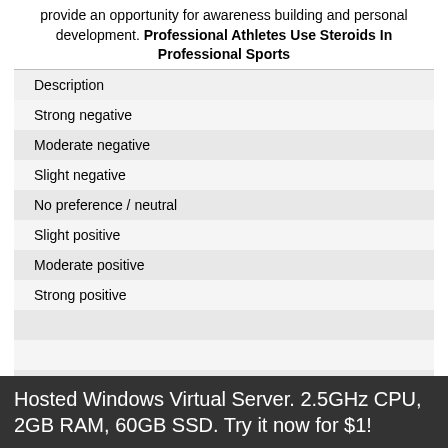provide an opportunity for awareness building and personal development. Professional Athletes Use Steroids In Professional Sports
| Description |
| --- |
| Strong negative |
| Moderate negative |
| Slight negative |
| No preference / neutral |
| Slight positive |
| Moderate positive |
| Strong positive |
Hosted Windows Virtual Server. 2.5GHz CPU, 2GB RAM, 60GB SSD. Try it now for $1!